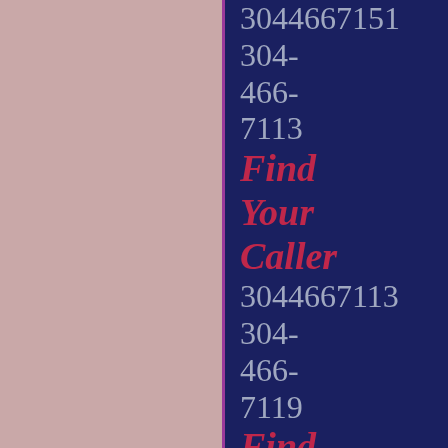3044667151
304-
466-
7113
Find
Your
Caller
3044667113
304-
466-
7119
Find
Your
Caller
3044667119
304-